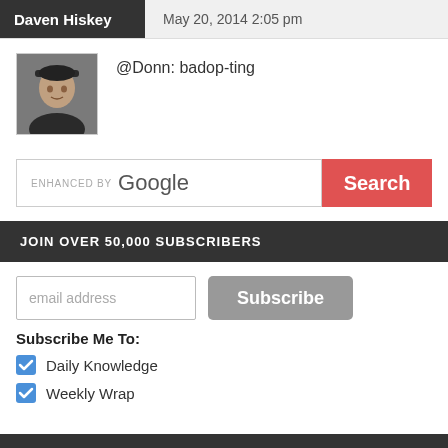Daven Hiskey   May 20, 2014 2:05 pm
@Donn: badop-ting
[Figure (photo): Profile photo of a man wearing a dark baseball cap and jacket, smiling at camera]
ENHANCED BY Google Search
JOIN OVER 50,000 SUBSCRIBERS
email address
Subscribe
Subscribe Me To:
Daily Knowledge
Weekly Wrap